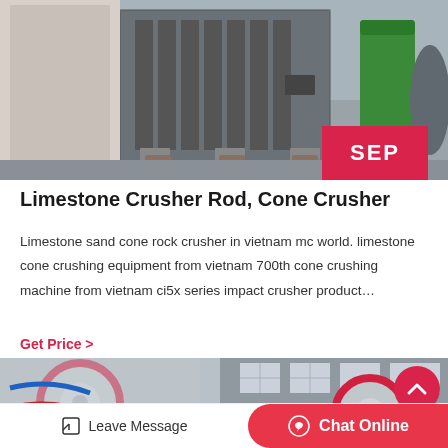[Figure (photo): Industrial crusher machine (grey/dark colored heavy equipment) on a concrete floor, with a green waste bin visible in the background]
Limestone Crusher Rod, Cone Crusher
Limestone sand cone rock crusher in vietnam mc world. limestone cone crushing equipment from vietnam 700th cone crushing machine from vietnam ci5x series impact crusher product…
Get Price  >
[Figure (photo): Industrial machinery with red circular components (flywheels or rollers) in a factory setting]